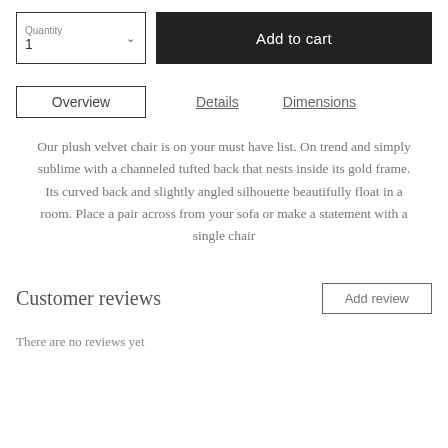[Figure (screenshot): Quantity selector box showing label 'Quantity' and value '1' with a dropdown arrow, next to a dark 'Add to cart' button]
Overview	Details	Dimensions
Our plush velvet chair is on your must have list. On trend and simply sublime with a channeled tufted back that nests inside its gold frame. Its curved back and slightly angled silhouette beautifully float in a room. Place a pair across from your sofa or make a statement with a single chair
Customer reviews
Add review
There are no reviews yet